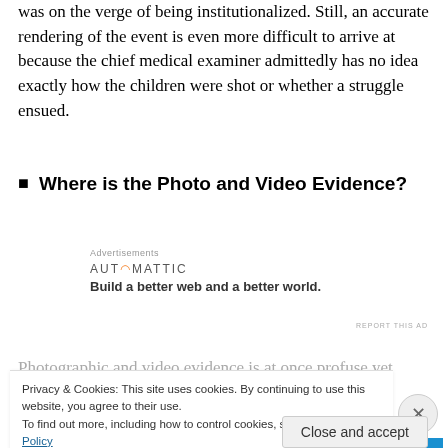was on the verge of being institutionalized. Still, an accurate rendering of the event is even more difficult to arrive at because the chief medical examiner admittedly has no idea exactly how the children were shot or whether a struggle ensued.
Where is the Photo and Video Evidence?
[Figure (other): Automattic advertisement: 'Build a better web and a better world.']
Photographic and video evidence is at once profuse yet
Privacy & Cookies: This site uses cookies. By continuing to use this website, you agree to their use.
To find out more, including how to control cookies, see here: Cookie Policy
Close and accept